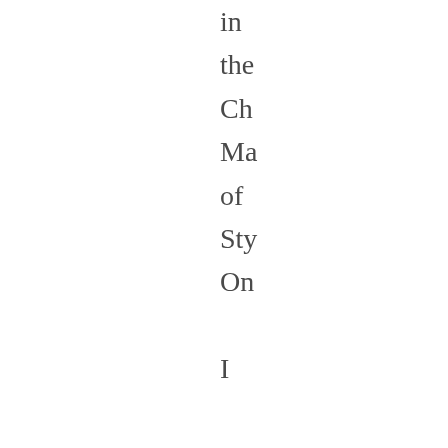in the Ch Ma of Sty On I ca say tha I am rel abo the hyp en das